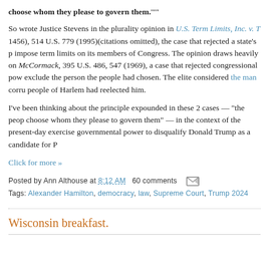choose whom they please to govern them.""
So wrote Justice Stevens in the plurality opinion in U.S. Term Limits, Inc. v. T... 1456), 514 U.S. 779 (1995)(citations omitted), the case that rejected a state's p... impose term limits on its members of Congress. The opinion draws heavily on... McCormack, 395 U.S. 486, 547 (1969), a case that rejected congressional pow... exclude the person the people had chosen. The elite considered the man corru... people of Harlem had reelected him.
I've been thinking about the principle expounded in these 2 cases — "the peop... choose whom they please to govern them" — in the context of the present-day... exercise governmental power to disqualify Donald Trump as a candidate for P...
Click for more »
Posted by Ann Althouse at 8:12 AM   60 comments
Tags: Alexander Hamilton, democracy, law, Supreme Court, Trump 2024
Wisconsin breakfast.